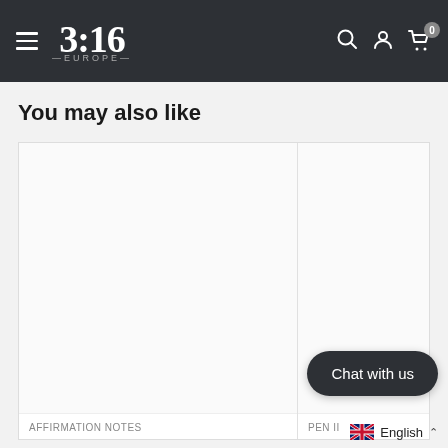3:16 EUROPE — navigation bar with hamburger menu, logo, search, account, and cart icons
You may also like
[Figure (photo): Two product cards side by side: left card labeled AFFIRMATION NOTES, right card labeled PEN II — both showing white/empty product image areas]
AFFIRMATION NOTES
PEN II
Chat with us
English